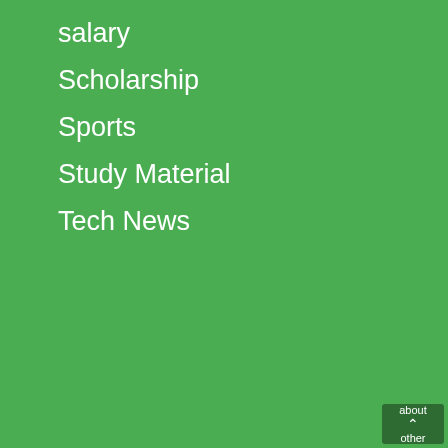salary
Scholarship
Sports
Study Material
Tech News
Welcome to fcimpapply.com. This blog is only for informational purpose. This is not Government website or associated with the Government. This website fcimpapply.com is not related to MP state FCI department. The officail website of FCI department is fci.gov.in. This website is only to provide information. You can get information about various exams, jobs, admit cards, results and other relevant topics from here.